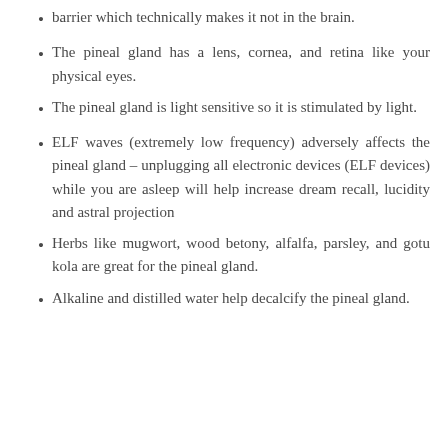barrier which technically makes it not in the brain.
The pineal gland has a lens, cornea, and retina like your physical eyes.
The pineal gland is light sensitive so it is stimulated by light.
ELF waves (extremely low frequency) adversely affects the pineal gland – unplugging all electronic devices (ELF devices) while you are asleep will help increase dream recall, lucidity and astral projection
Herbs like mugwort, wood betony, alfalfa, parsley, and gotu kola are great for the pineal gland.
Alkaline and distilled water help decalcify the pineal gland.